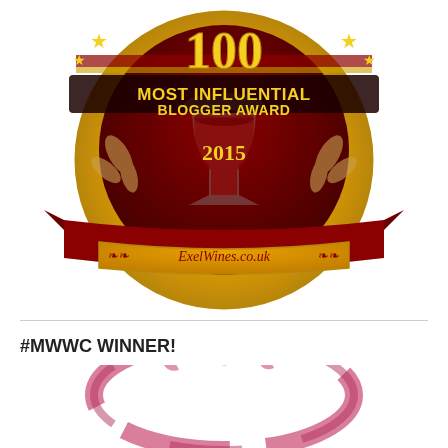[Figure (illustration): Circular award badge: '100 Most Influential Blogger Award 2015' with wine glass, gold circle, red ribbon, and ExelWines.co.uk banner]
#MWWC WINNER!
[Figure (illustration): Circular wine splash/stain ring in pink-red color, partially visible at bottom of page]